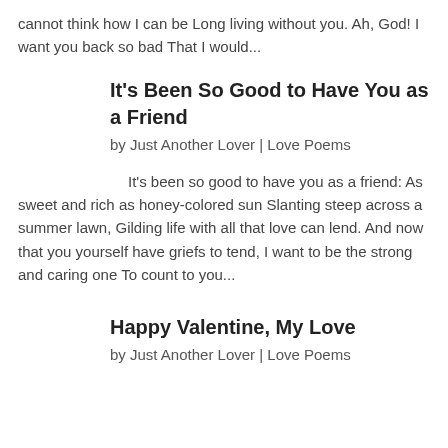cannot think how I can be Long living without you. Ah, God! I want you back so bad That I would...
It's Been So Good to Have You as a Friend
by Just Another Lover | Love Poems
It's been so good to have you as a friend: As sweet and rich as honey-colored sun Slanting steep across a summer lawn, Gilding life with all that love can lend. And now that you yourself have griefs to tend, I want to be the strong and caring one To count to you...
Happy Valentine, My Love
by Just Another Lover | Love Poems